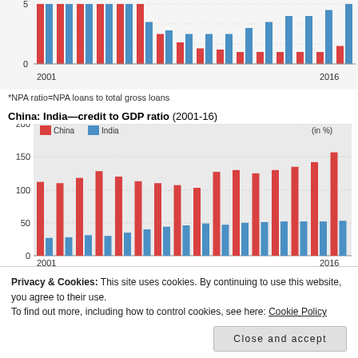[Figure (grouped-bar-chart): NPA ratio (top, partial)]
*NPA ratio=NPA loans to total gross loans
China: India—credit to GDP ratio (2001-16)
[Figure (grouped-bar-chart): China: India—credit to GDP ratio (2001-16)]
Privacy & Cookies: This site uses cookies. By continuing to use this website, you agree to their use. To find out more, including how to control cookies, see here: Cookie Policy